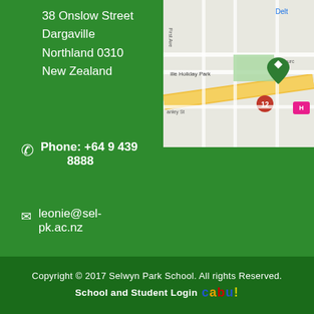38 Onslow Street
Dargaville
Northland 0310
New Zealand
[Figure (map): Google Maps screenshot showing the area around 38 Onslow Street, Dargaville, Northland, New Zealand. Shows streets including Stanley St, Church St, First Ave, a Holiday Park marker, and route 12.]
Phone: +64 9 439 8888
leonie@sel-pk.ac.nz
Copyright © 2017 Selwyn Park School. All rights Reserved.
School and Student Login  CaBU!